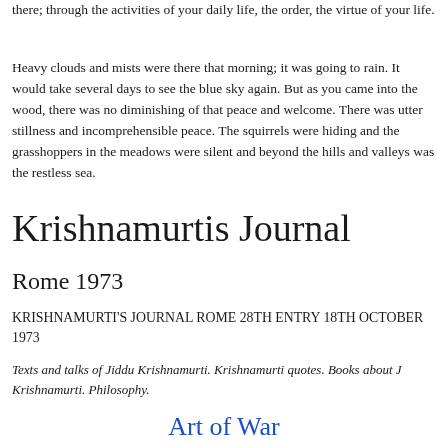there; through the activities of your daily life, the order, the virtue of your life.
Heavy clouds and mists were there that morning; it was going to rain. It would take several days to see the blue sky again. But as you came into the wood, there was no diminishing of that peace and welcome. There was utter stillness and incomprehensible peace. The squirrels were hiding and the grasshoppers in the meadows were silent and beyond the hills and valleys was the restless sea.
Krishnamurtis Journal
Rome 1973
KRISHNAMURTI'S JOURNAL ROME 28TH ENTRY 18TH OCTOBER 1973
Texts and talks of Jiddu Krishnamurti. Krishnamurti quotes. Books about J Krishnamurti. Philosophy.
Art of War